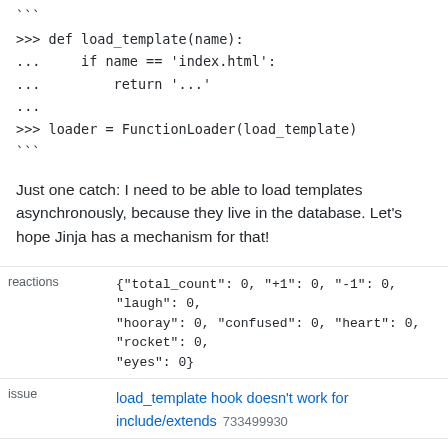```
>>> def load_template(name):
...     if name == 'index.html':
...         return '...'
...
>>> loader = FunctionLoader(load_template)
```
Just one catch: I need to be able to load templates asynchronously, because they live in the database. Let's hope Jinja has a mechanism for that!
reactions
{"total_count": 0, "+1": 0, "-1": 0, "laugh": 0, "hooray": 0, "confused": 0, "heart": 0, "rocket": 0, "eyes": 0}
issue
load_template hook doesn't work for include/extends 733499930
performed_via_github_app